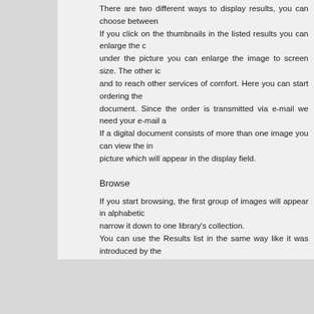There are two different ways to display results, you can choose between If you click on the thumbnails in the listed results you can enlarge the c under the picture you can enlarge the image to screen size. The other ic and to reach other services of comfort. Here you can start ordering the document. Since the order is transmitted via e-mail we need your e-mail a If a digital document consists of more than one image you can view the in picture which will appear in the display field.
Browse
If you start browsing, the first group of images will appear in alphabetic narrow it down to one library's collection.
You can use the Results list in the same way like it was introduced by the
News
In this menu you can read about the actual events, new uploads, informat
Guestbook
You can send your comments about the Digital Library.